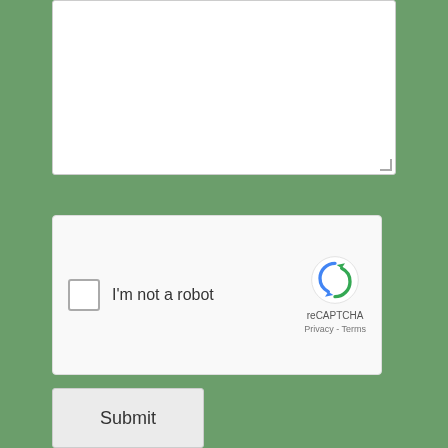[Figure (screenshot): Textarea input box (white rectangle) at top of page]
[Figure (screenshot): reCAPTCHA widget with checkbox labeled 'I'm not a robot' and Google reCAPTCHA logo with Privacy and Terms links]
Submit
Call: (941) 929-3147
Email Mark Lindsay
Download Forms
Photos
Locations